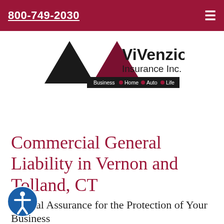800-749-2030
[Figure (logo): ViVenzio Insurance Inc. logo with triangle shapes and navigation bar showing Business, Home, Auto, Life]
Commercial General Liability in Vernon and Tolland, CT
Critical Assurance for the Protection of Your Business